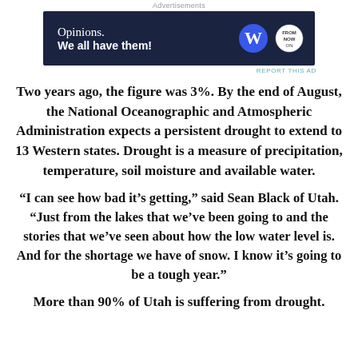Advertisements
[Figure (other): Advertisement banner with dark navy background. Left side shows text 'Opinions. We all have them!' in white. Right side shows WordPress W logo and another circular logo.]
Two years ago, the figure was 3%. By the end of August, the National Oceanographic and Atmospheric Administration expects a persistent drought to extend to 13 Western states. Drought is a measure of precipitation, temperature, soil moisture and available water.
“I can see how bad it’s getting,” said Sean Black of Utah. “Just from the lakes that we’ve been going to and the stories that we’ve seen about how the low water level is. And for the shortage we have of snow. I know it’s going to be a tough year.”
More than 90% of Utah is suffering from drought.